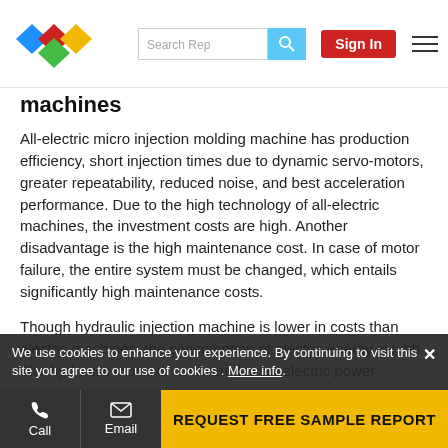Search Rep | Sign In
machines
All-electric micro injection molding machine has production efficiency, short injection times due to dynamic servo-motors, greater repeatability, reduced noise, and best acceleration performance. Due to the high technology of all-electric machines, the investment costs are high. Another disadvantage is the high maintenance cost. In case of motor failure, the entire system must be changed, which entails significantly high maintenance costs.
Though hydraulic injection machine is lower in costs than electric machines, the consumption of electric energy is high. The hydraulic motor is connected to an electric power ...
We use cookies to enhance your experience. By continuing to visit this site you agree to our use of cookies . More info.
Call | Email | REQUEST FREE SAMPLE REPORT